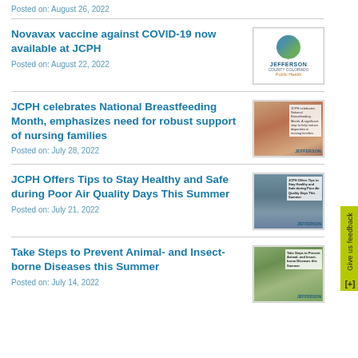Posted on: August 26, 2022
Novavax vaccine against COVID-19 now available at JCPH
Posted on: August 22, 2022
[Figure (logo): Jefferson County Public Health logo with circular mountain/nature graphic and orange text]
JCPH celebrates National Breastfeeding Month, emphasizes need for robust support of nursing families
Posted on: July 28, 2022
[Figure (photo): Breastfeeding image with Jefferson County Public Health overlay text]
JCPH Offers Tips to Stay Healthy and Safe during Poor Air Quality Days This Summer
Posted on: July 21, 2022
[Figure (photo): Misty forest/mountain landscape with air quality tips overlay text]
Take Steps to Prevent Animal- and Insect-borne Diseases this Summer
Posted on: July 14, 2022
[Figure (photo): Person with dog outdoors, green landscape, with overlay text about animal and insect-borne diseases]